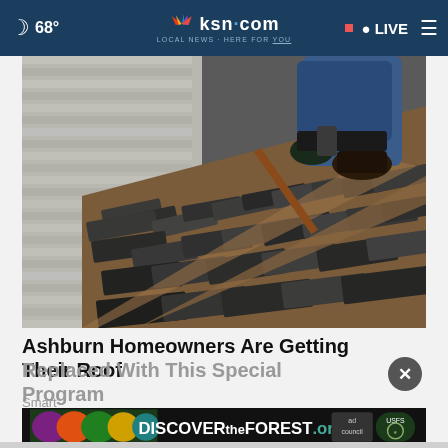🌙 68° | ksn.com LOCAL NEWS · HERE FOR YOU | • LIVE ≡
[Figure (photo): A roofer working on a damaged roof, removing old dark shingles with a pry bar, with white siding of a house visible in the background]
Ashburn Homeowners Are Getting Their Roof Replaced With This Special Program
Smart
[Figure (other): Advertisement banner: DISCOVERtheFOREST.org with Ad Council and US Forest Service logos on dark background with colorful forest imagery]